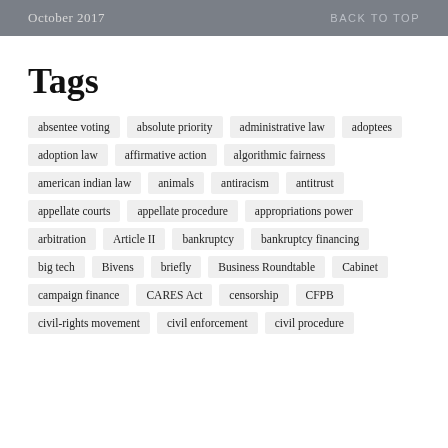October 2017   BACK TO TOP
Tags
absentee voting
absolute priority
administrative law
adoptees
adoption law
affirmative action
algorithmic fairness
american indian law
animals
antiracism
antitrust
appellate courts
appellate procedure
appropriations power
arbitration
Article II
bankruptcy
bankruptcy financing
big tech
Bivens
briefly
Business Roundtable
Cabinet
campaign finance
CARES Act
censorship
CFPB
civil-rights movement
civil enforcement
civil procedure